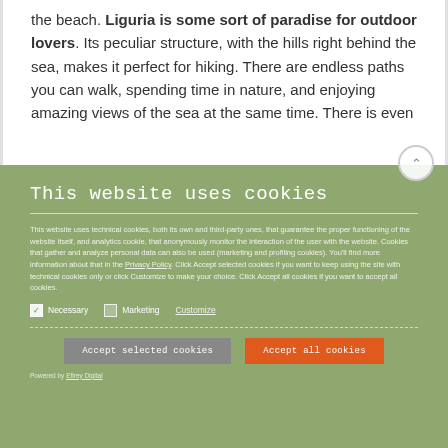the beach. Liguria is some sort of paradise for outdoor lovers. Its peculiar structure, with the hills right behind the sea, makes it perfect for hiking. There are endless paths you can walk, spending time in nature, and enjoying amazing views of the sea at the same time. There is even
This website uses cookies
This website uses technical cookies, both its own and third-party ones, that guarantee the proper functioning of the website itself, and analytics cookie, that anonymously monitor the interaction of the user with the website. Cookies that gather and analyze personal data can also be used (marketing and profiling cookies). You'll find more information about that in the Privacy Policy. Click Accept selected cookies if you want to keep using the site with technical cookies only or click Customize to make your choice. Click Accept all cookies if you want to accept all cookies.
Necessary  Marketing  Customize
Accept selected cookies    Accept all cookies
Powered by Efirey Digital